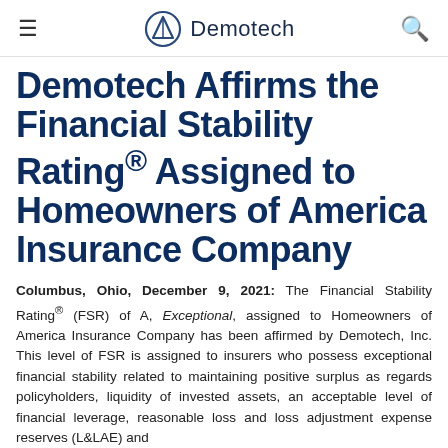≡  Demotech  🔍
Demotech Affirms the Financial Stability Rating® Assigned to Homeowners of America Insurance Company
Columbus, Ohio, December 9, 2021: The Financial Stability Rating® (FSR) of A, Exceptional, assigned to Homeowners of America Insurance Company has been affirmed by Demotech, Inc. This level of FSR is assigned to insurers who possess exceptional financial stability related to maintaining positive surplus as regards policyholders, liquidity of invested assets, an acceptable level of financial leverage, reasonable loss and loss adjustment expense reserves (L&LAE) and